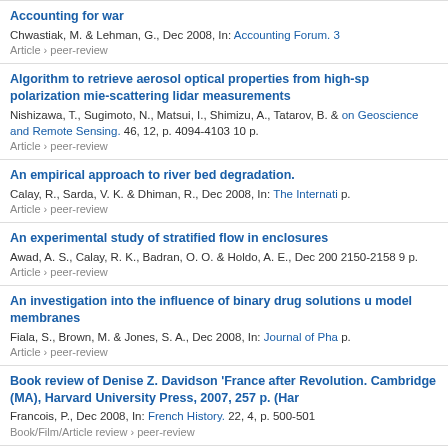Accounting for war
Chwastiak, M. & Lehman, G., Dec 2008, In: Accounting Forum. 3
Article › peer-review
Algorithm to retrieve aerosol optical properties from high-sp polarization mie-scattering lidar measurements
Nishizawa, T., Sugimoto, N., Matsui, I., Shimizu, A., Tatarov, B. & on Geoscience and Remote Sensing. 46, 12, p. 4094-4103 10 p.
Article › peer-review
An empirical approach to river bed degradation.
Calay, R., Sarda, V. K. & Dhiman, R., Dec 2008, In: The Internati p.
Article › peer-review
An experimental study of stratified flow in enclosures
Awad, A. S., Calay, R. K., Badran, O. O. & Holdo, A. E., Dec 200 2150-2158 9 p.
Article › peer-review
An investigation into the influence of binary drug solutions u model membranes
Fiala, S., Brown, M. & Jones, S. A., Dec 2008, In: Journal of Pha p.
Article › peer-review
Book review of Denise Z. Davidson 'France after Revolution. Cambridge (MA), Harvard University Press, 2007, 257 p. (Har
Francois, P., Dec 2008, In: French History. 22, 4, p. 500-501
Book/Film/Article review › peer-review
Components of resistance to diseases in winter oilseed rape
West, J. S., Fitt, B. D. L., Rogers, S. L., White, R. P., Todd, A. D., Booth, E., Jennaway, R., Clarke, M., Padbury, P., Bowman, J., Ni 2008, HGCA. (HGCA Project Report; no. 446)